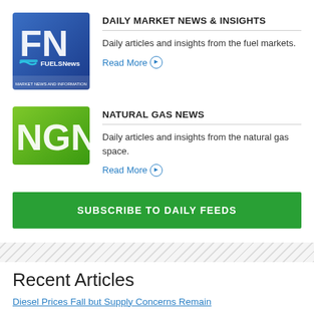[Figure (logo): FN FuelsNews logo — blue background with white block letters FN and FuelsNews branding, MARKET NEWS AND INFORMATION]
DAILY MARKET NEWS & INSIGHTS
Daily articles and insights from the fuel markets.
Read More
[Figure (logo): NGN Natural Gas News logo — green background with white block letters NGN]
NATURAL GAS NEWS
Daily articles and insights from the natural gas space.
Read More
SUBSCRIBE TO DAILY FEEDS
Recent Articles
Diesel Prices Fall but Supply Concerns Remain